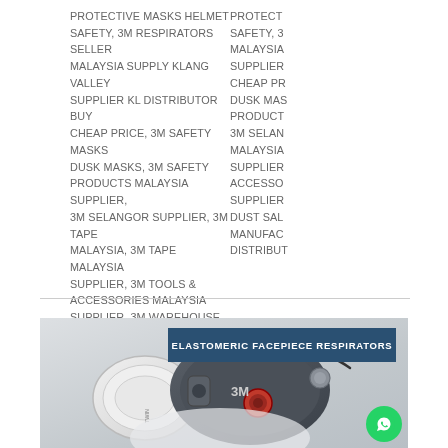PROTECTIVE MASKS HELMET SAFETY, 3M RESPIRATORS SELLER MALAYSIA SUPPLY KLANG VALLEY SUPPLIER KL DISTRIBUTOR BUY CHEAP PRICE, 3M SAFETY MASKS DUSK MASKS, 3M SAFETY PRODUCTS MALAYSIA SUPPLIER, 3M SELANGOR SUPPLIER, 3M TAPE MALAYSIA, 3M TAPE MALAYSIA SUPPLIER, 3M TOOLS & ACCESSORIES MALAYSIA SUPPLIER, 3M WAREHOUSE MASKS DUST SALE PRICE CHEAP RM MANUFACTURER TRADING DISTRIBUTOR SELL BUY
[Figure (photo): 3M elastomeric facepiece respirator with dual cartridge filters shown on white background, with banner text 'ELASTOMERIC FACEPIECE RESPIRATORS']